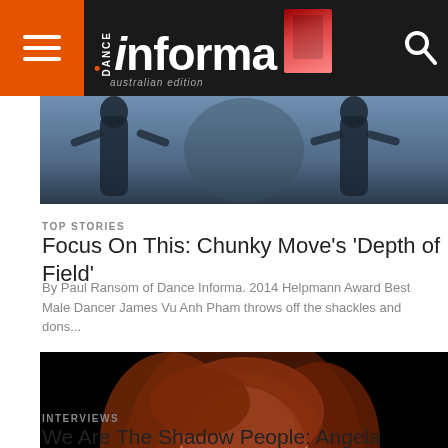Dance Informa — australian edition
[Figure (photo): Two dancers in silhouette against a blue-grey background]
TOP STORIES
Focus On This: Chunky Move's 'Depth of Field'
By Paul Ransom of Dance Informa. 2014 Helpmann Award Best Male Dancer James Vu Anh Pham throws off the shackles and dons...
[Figure (photo): Close-up portrait of a woman with auburn hair and glasses against a black background]
INTERVIEWS
We Are The Shadow People: Angela Conquest on